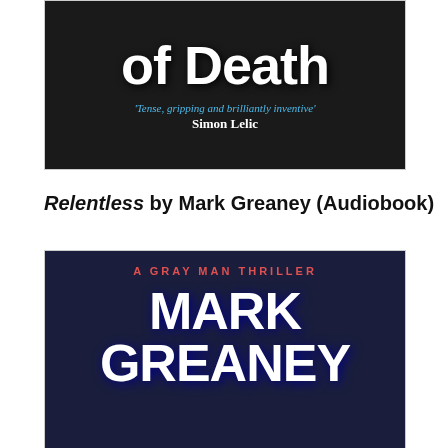[Figure (photo): Book cover showing 'of Death' title text in large white bold letters on dark background, with quote 'Tense, gripping and brilliantly inventive' by Simon Lelic in teal/blue italic text]
Relentless by Mark Greaney (Audiobook)
[Figure (photo): Book cover for 'Relentless' by Mark Greaney - A Gray Man Thriller. Dark blue/purple background with large white bold text showing 'MARK GREANEY' and subtitle 'A GRAY MAN THRILLER' in red]